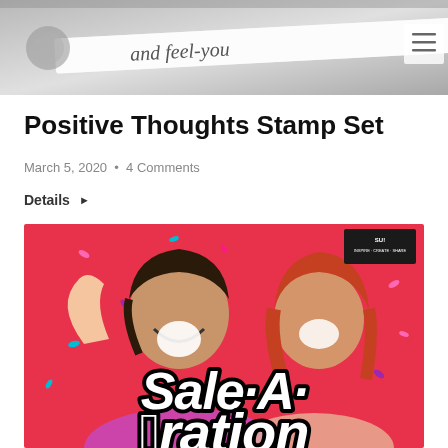[Figure (photo): Partial image of craft/stamp product with cursive text 'and feel-you' visible on a banner/label against a light grey background]
Positive Thoughts Stamp Set
March 5, 2020  •  4 Comments
Details ▶
[Figure (photo): Two smiling women on a red background with colorful confetti. The woman on the left has dark hair and is wearing purple/pink, raising her hand. The woman on the right has red hair. Text overlay at the bottom reads 'Sale-A-Bration' in large white script with black outline. A Stampin' Up! logo is visible in the top right corner.]